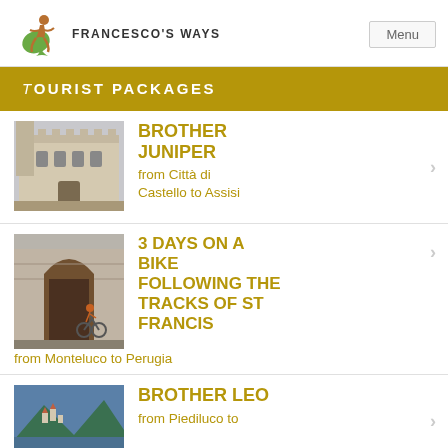FRANCESCO'S WAYS | Menu
TOURIST PACKAGES
BROTHER JUNIPER
from Città di Castello to Assisi
3 DAYS ON A BIKE FOLLOWING THE TRACKS OF ST FRANCIS
from Monteluco to Perugia
BROTHER LEO
from Piediluco to...